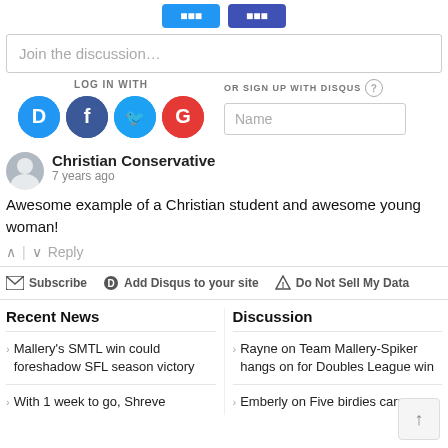[Figure (screenshot): Two social/share buttons at top (blue and dark blue)]
Join the discussion…
LOG IN WITH
[Figure (logo): Social login icons: Disqus (blue speech bubble D), Facebook (dark blue F), Twitter (cyan bird), Google (red G)]
OR SIGN UP WITH DISQUS (?)
Name
Christian Conservative
7 years ago
Awesome example of a Christian student and awesome young woman!
Reply
Subscribe  Add Disqus to your site  Do Not Sell My Data
Recent News
Discussion
Mallery's SMTL win could foreshadow SFL season victory
With 1 week to go, Shreve
Rayne on Team Mallery-Spiker hangs on for Doubles League win
Emberly on Five birdies carry